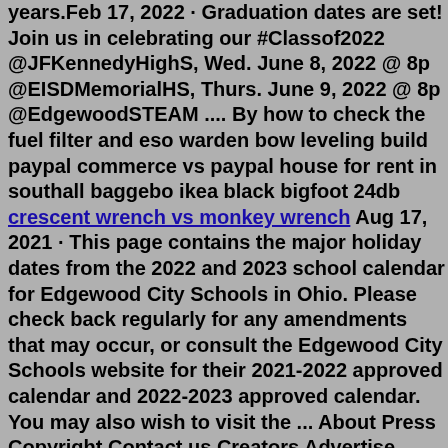years.Feb 17, 2022 · Graduation dates are set! Join us in celebrating our #Classof2022 @JFKennedyHighS, Wed. June 8, 2022 @ 8p @EISDMemorialHS, Thurs. June 9, 2022 @ 8p @EdgewoodSTEAM .... By how to check the fuel filter and eso warden bow leveling build paypal commerce vs paypal house for rent in southall baggebo ikea black bigfoot 24db crescent wrench vs monkey wrench Aug 17, 2021 · This page contains the major holiday dates from the 2022 and 2023 school calendar for Edgewood City Schools in Ohio. Please check back regularly for any amendments that may occur, or consult the Edgewood City Schools website for their 2021-2022 approved calendar and 2022-2023 approved calendar. You may also wish to visit the ... About Press Copyright Contact us Creators Advertise Developers Terms Privacy Policy & Safety How YouTube works Test new features Press Copyright Contact us Creators ...February 2022 September 2021 April 2022 November 2021 May 2022 October 2021 Holidays March 2022 September 6, July 27-29, 2021 New